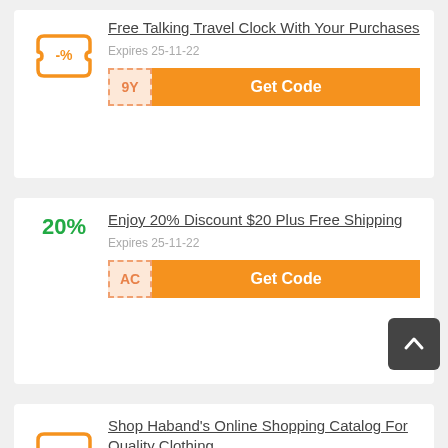Free Talking Travel Clock With Your Purchases
Expires 25-11-22
9Y... Get Code
Enjoy 20% Discount $20 Plus Free Shipping
Expires 25-11-22
AC... Get Code
Shop Haband's Online Shopping Catalog For Quality Clothing...
Expires 26-10-22